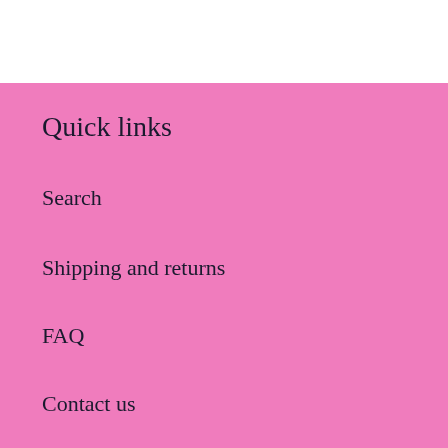Quick links
Search
Shipping and returns
FAQ
Contact us
Terms of Service